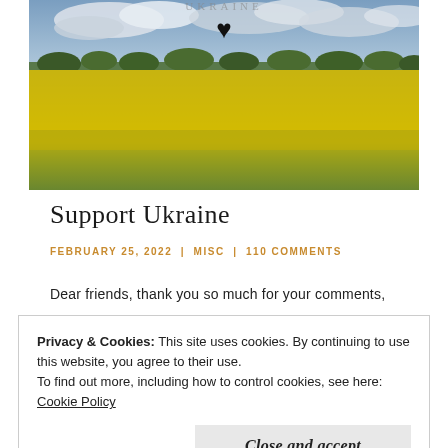[Figure (photo): A field of yellow rapeseed flowers under a cloudy sky, with a black heart symbol near the top center, and faint text at the top reading 'UKRAINE'.]
Support Ukraine
FEBRUARY 25, 2022 | MISC | 110 COMMENTS
Dear friends, thank you so much for your comments,
Privacy & Cookies: This site uses cookies. By continuing to use this website, you agree to their use.
To find out more, including how to control cookies, see here: Cookie Policy
Close and accept